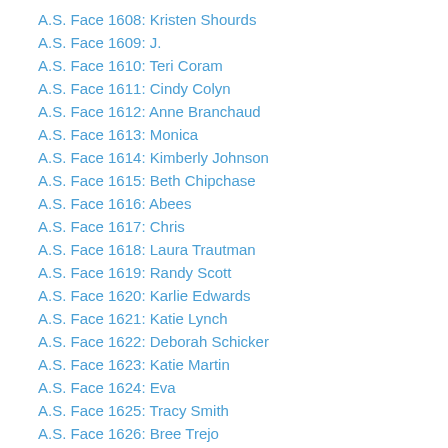A.S. Face 1608: Kristen Shourds
A.S. Face 1609: J.
A.S. Face 1610: Teri Coram
A.S. Face 1611: Cindy Colyn
A.S. Face 1612: Anne Branchaud
A.S. Face 1613: Monica
A.S. Face 1614: Kimberly Johnson
A.S. Face 1615: Beth Chipchase
A.S. Face 1616: Abees
A.S. Face 1617: Chris
A.S. Face 1618: Laura Trautman
A.S. Face 1619: Randy Scott
A.S. Face 1620: Karlie Edwards
A.S. Face 1621: Katie Lynch
A.S. Face 1622: Deborah Schicker
A.S. Face 1623: Katie Martin
A.S. Face 1624: Eva
A.S. Face 1625: Tracy Smith
A.S. Face 1626: Bree Trejo
A.S. Face 1627: Bobbi Boutwell